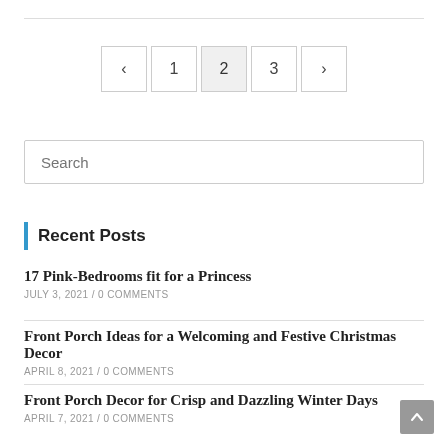[Figure (other): Pagination navigation with previous arrow, pages 1, 2 (active), 3, and next arrow]
Search
Recent Posts
17 Pink-Bedrooms fit for a Princess
JULY 3, 2021 / 0 COMMENTS
Front Porch Ideas for a Welcoming and Festive Christmas Decor
APRIL 8, 2021 / 0 COMMENTS
Front Porch Decor for Crisp and Dazzling Winter Days
APRIL 7, 2021 / 0 COMMENTS